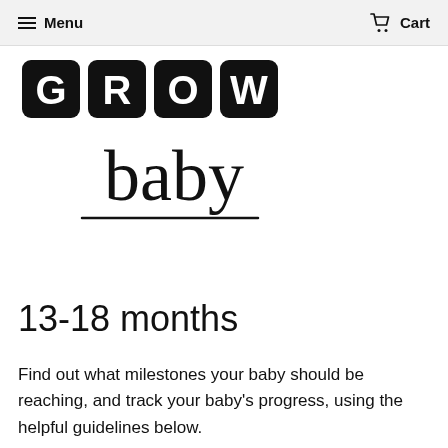Menu   Cart
[Figure (logo): GROW baby logo: four black rounded-square tiles spelling G R O W in white bold letters, with 'baby' in large serif-style lowercase text below and an underline beneath it]
13-18 months
Find out what milestones your baby should be reaching, and track your baby's progress, using the helpful guidelines below.